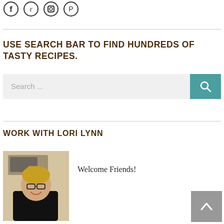[Figure (illustration): Four social media icon circles: Facebook, Twitter, Instagram, Pinterest]
USE SEARCH BAR TO FIND HUNDREDS OF TASTY RECIPES.
[Figure (screenshot): Search bar input field with placeholder 'Search ...' and a teal search button with magnifying glass icon]
WORK WITH LORI LYNN
[Figure (photo): Photo of a woman with glasses and dark top, smiling, with kitchen/microwave in background]
Welcome Friends!
[Figure (illustration): Gray back-to-top arrow button in bottom right corner]